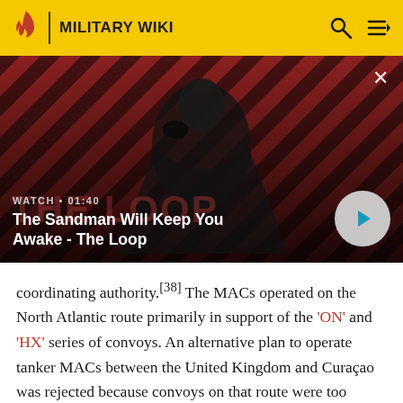MILITARY WIKI
[Figure (screenshot): Video thumbnail for 'The Sandman Will Keep You Awake - The Loop' showing a dark figure with a raven on shoulder against a red and black striped background. Shows WATCH • 01:40 label and a play button.]
coordinating authority.[38] The MACs operated on the North Atlantic route primarily in support of the 'ON' and 'HX' series of convoys. An alternative plan to operate tanker MACs between the United Kingdom and Curaçao was rejected because convoys on that route were too